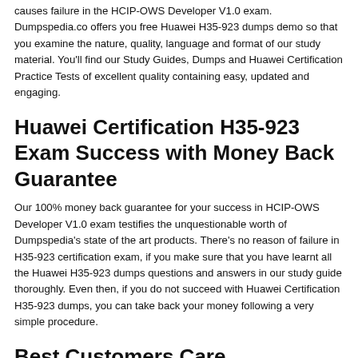causes failure in the HCIP-OWS Developer V1.0 exam. Dumpspedia.co offers you free Huawei H35-923 dumps demo so that you examine the nature, quality, language and format of our study material. You'll find our Study Guides, Dumps and Huawei Certification Practice Tests of excellent quality containing easy, updated and engaging.
Huawei Certification H35-923 Exam Success with Money Back Guarantee
Our 100% money back guarantee for your success in HCIP-OWS Developer V1.0 exam testifies the unquestionable worth of Dumpspedia's state of the art products. There's no reason of failure in H35-923 certification exam, if you make sure that you have learnt all the Huawei H35-923 dumps questions and answers in our study guide thoroughly. Even then, if you do not succeed with Huawei Certification H35-923 dumps, you can take back your money following a very simple procedure.
Best Customers Care
Our HCIP-OWS Developer V1.0 worthy customers are our asset. At Dumpspedia.co, you get the best customers care. All of your